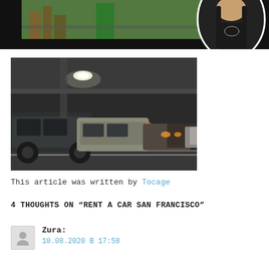[Figure (photo): Top banner image showing aerial city view with a woman portrait cutout on dark background]
[Figure (photo): Indoor parking garage with multiple cars parked in rows under dim lighting]
This article was written by Tocage
4 THOUGHTS ON "RENT A CAR SAN FRANCISCO"
Zura:
10.08.2020 B 17:58